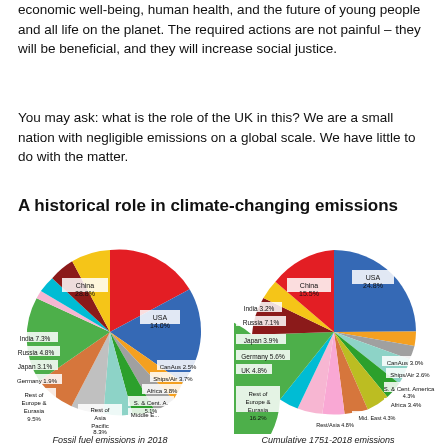economic well-being, human health, and the future of young people and all life on the planet. The required actions are not painful – they will be beneficial, and they will increase social justice.
You may ask: what is the role of the UK in this? We are a small nation with negligible emissions on a global scale. We have little to do with the matter.
A historical role in climate-changing emissions
[Figure (pie-chart): Fossil fuel emissions in 2018]
[Figure (pie-chart): Cumulative 1751-2018 emissions]
Fossil fuel emissions in 2018
Cumulative 1751-2018 emissions